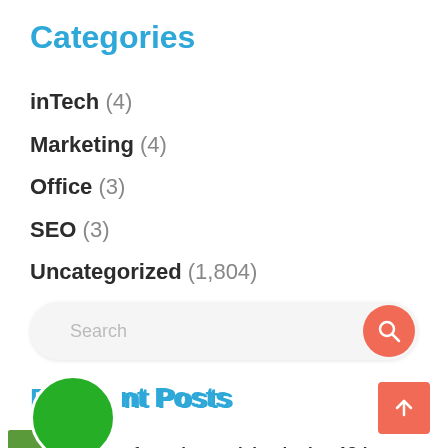Categories
inTech (4)
Marketing (4)
Office (3)
SEO (3)
Uncategorized (1,804)
Search
Recent Posts
News from the week beginning 18th